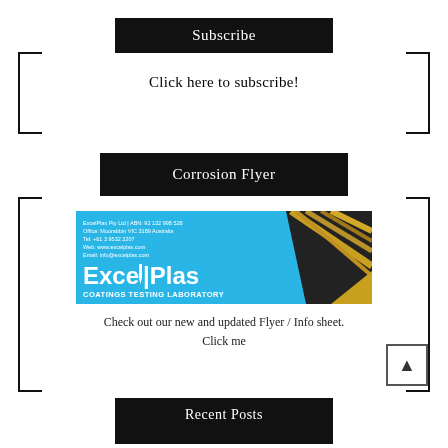Subscribe
Click here to subscribe!
Corrosion Flyer
[Figure (illustration): ExcelPlas Coatings Testing Laboratory promotional banner/flyer image with blue background, gold metallic streaks, company logo 'ExcelPlas', and text 'COATINGS TESTING LABORATORY' with contact details: ExcelPlas Pty Ltd | ABN: 92 132 998 528, Office: Moorabbin VIC 3189 Australia, Tel: +61 3 9532 2207, Web: www.excelplas.com, Email: info@excelplas.com]
Check out our new and updated Flyer / Info sheet. Click me
Recent Posts